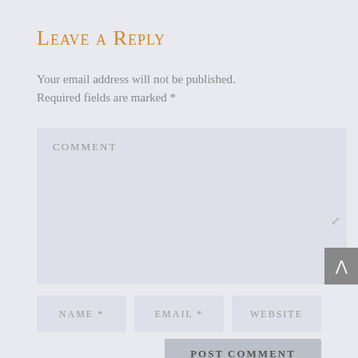Leave a Reply
Your email address will not be published. Required fields are marked *
COMMENT
NAME *
EMAIL *
WEBSITE
POST COMMENT